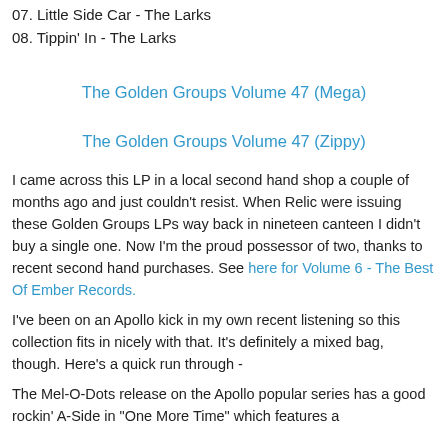07. Little Side Car - The Larks
08. Tippin' In - The Larks
The Golden Groups Volume 47 (Mega)
The Golden Groups Volume 47 (Zippy)
I came across this LP in a local second hand shop a couple of months ago and just couldn't resist. When Relic were issuing these Golden Groups LPs way back in nineteen canteen I didn't buy a single one. Now I'm the proud possessor of two, thanks to recent second hand purchases. See here for Volume 6 - The Best Of Ember Records.
I've been on an Apollo kick in my own recent listening so this collection fits in nicely with that. It's definitely a mixed bag, though. Here's a quick run through -
The Mel-O-Dots release on the Apollo popular series has a good rockin' A-Side in "One More Time" which features a